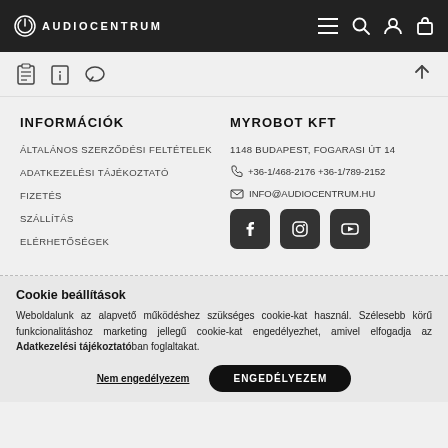AUDIOCENTRUM
INFORMÁCIÓK
ÁLTALÁNOS SZERZŐDÉSI FELTÉTELEK
ADATKEZELÉSI TÁJÉKOZTATÓ
FIZETÉS
SZÁLLÍTÁS
ELÉRHETŐSÉGEK
MYROBOT KFT
1148 BUDAPEST, FOGARASI ÚT 14
+36-1/468-2176 +36-1/789-2152
INFO@AUDIOCENTRUM.HU
[Figure (logo): Social media icons: Facebook, Instagram, YouTube]
Cookie beállítások
Weboldalunk az alapvető működéshez szükséges cookie-kat használ. Szélesebb körű funkcionalitáshoz marketing jellegű cookie-kat engedélyezhet, amivel elfogadja az Adatkezelési tájékoztatóban foglaltakat.
Nem engedélyezem
ENGEDÉLYEZEM